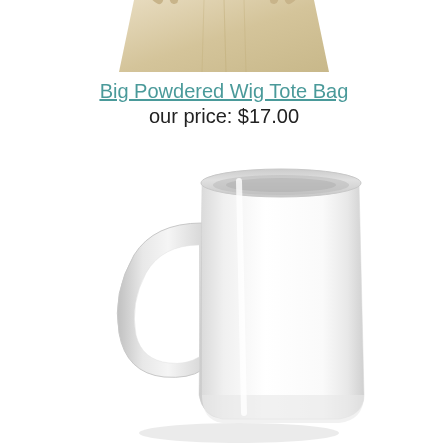[Figure (photo): Partial top view of a Big Powdered Wig Tote Bag, cream/beige colored, cropped at top of page]
Big Powdered Wig Tote Bag
our price: $17.00
[Figure (photo): White ceramic coffee mug with handle on the left side, shown on white background]